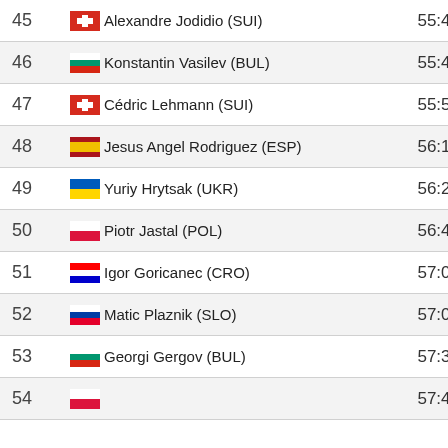| Rank | Athlete | Time |
| --- | --- | --- |
| 45 | Alexandre Jodidio (SUI) | 55:42 |
| 46 | Konstantin Vasilev (BUL) | 55:49 |
| 47 | Cédric Lehmann (SUI) | 55:56 |
| 48 | Jesus Angel Rodriguez (ESP) | 56:18 |
| 49 | Yuriy Hrytsak (UKR) | 56:25 |
| 50 | Piotr Jastal (POL) | 56:49 |
| 51 | Igor Goricanec (CRO) | 57:01 |
| 52 | Matic Plaznik (SLO) | 57:08 |
| 53 | Georgi Gergov (BUL) | 57:34 |
| 54 |  | 57:44 |